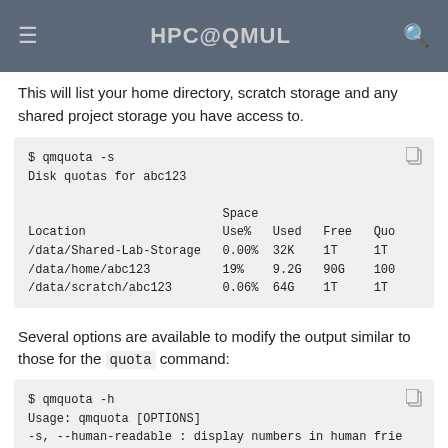HPC@QMUL
This will list your home directory, scratch storage and any shared project storage you have access to.
$ qmquota -s
Disk quotas for abc123

                           Space
Location                   Use%   Used   Free   Quo
/data/Shared-Lab-Storage   0.00%  32K    1T     1T
/data/home/abc123          19%    9.2G   90G    100
/data/scratch/abc123       0.06%  64G    1T     1T
Several options are available to modify the output similar to those for the quota command:
$ qmquota -h
Usage: qmquota [OPTIONS]
-s, --human-readable : display numbers in human frie